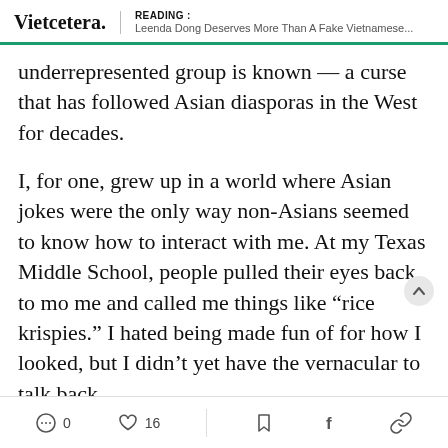READING : Leenda Dong Deserves More Than A Fake Vietnamese...
underrepresented group is known — a curse that has followed Asian diasporas in the West for decades.
I, for one, grew up in a world where Asian jokes were the only way non-Asians seemed to know how to interact with me. At my Texas Middle School, people pulled their eyes back to mo me and called me things like “rice krispies.” I hated being made fun of for how I looked, but I didn’t yet have the vernacular to talk back.
0  16